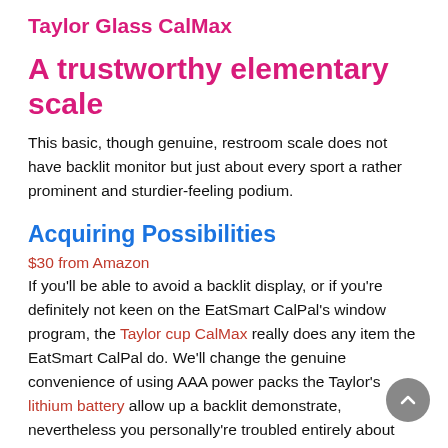Taylor Glass CalMax
A trustworthy elementary scale
This basic, though genuine, restroom scale does not have backlit monitor but just about every sport a rather prominent and sturdier-feeling podium.
Acquiring Possibilities
$30 from Amazon
If you'll be able to avoid a backlit display, or if you're definitely not keen on the EatSmart CalPal's window program, the Taylor cup CalMax really does any item the EatSmart CalPal do. We'll change the genuine convenience of using AAA power packs the Taylor's lithium battery allow up a backlit demonstrate, nevertheless you personally're troubled entirely about being a fairly specific pounds reviewing, the Taylor glaze